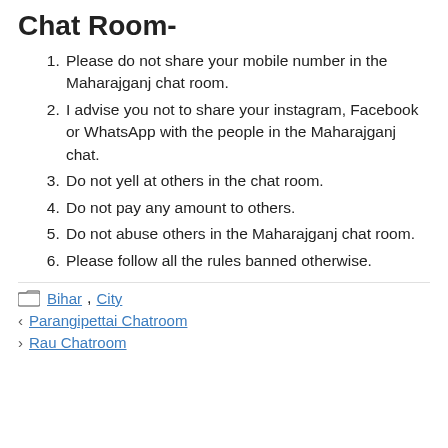Chat Room-
Please do not share your mobile number in the Maharajganj chat room.
I advise you not to share your instagram, Facebook or WhatsApp with the people in the Maharajganj chat.
Do not yell at others in the chat room.
Do not pay any amount to others.
Do not abuse others in the Maharajganj chat room.
Please follow all the rules banned otherwise.
Bihar, City
< Parangipettai Chatroom
> Rau Chatroom